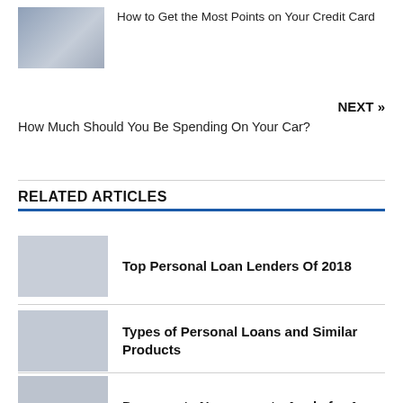[Figure (photo): Person typing on laptop, blurred office background]
How to Get the Most Points on Your Credit Card
NEXT »
How Much Should You Be Spending On Your Car?
RELATED ARTICLES
Top Personal Loan Lenders Of 2018
Types of Personal Loans and Similar Products
Documents Necessary to Apply for A